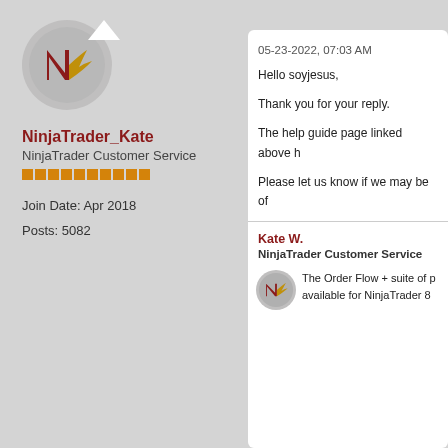[Figure (logo): NinjaTrader circular logo with red N arrow on gray background]
NinjaTrader_Kate
NinjaTrader Customer Service
[Figure (infographic): Orange reputation bar blocks]
Join Date: Apr 2018
Posts: 5082
05-23-2022, 07:03 AM
Hello soyjesus,
Thank you for your reply.
The help guide page linked above h
Please let us know if we may be of
Kate W.
NinjaTrader Customer Service
The Order Flow + suite of p available for NinjaTrader 8